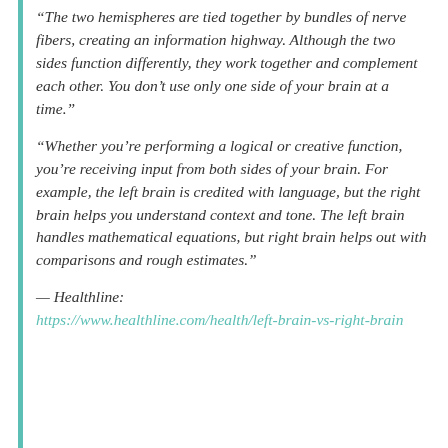“The two hemispheres are tied together by bundles of nerve fibers, creating an information highway. Although the two sides function differently, they work together and complement each other. You don’t use only one side of your brain at a time.”
“Whether you’re performing a logical or creative function, you’re receiving input from both sides of your brain. For example, the left brain is credited with language, but the right brain helps you understand context and tone. The left brain handles mathematical equations, but right brain helps out with comparisons and rough estimates.”
— Healthline: https://www.healthline.com/health/left-brain-vs-right-brain